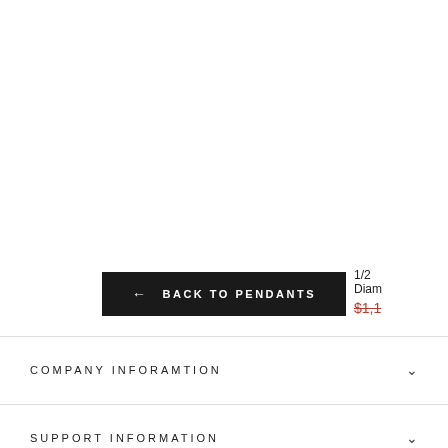1/2 Diam
$1,1
← BACK TO PENDANTS
COMPANY INFORAMTION
SUPPORT INFORMATION